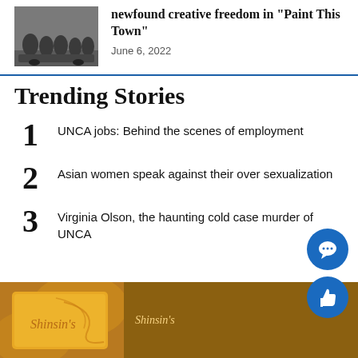[Figure (photo): Group of people (band members) sitting on or near a car outdoors]
newfound creative freedom in "Paint This Town"
June 6, 2022
Trending Stories
1  UNCA jobs: Behind the scenes of employment
2  Asian women speak against their over sexualization
3  Virginia Olson, the haunting cold case murder of UNCA
[Figure (illustration): Brown and orange decorative banner/advertisement with cursive text 'Shinsin's']